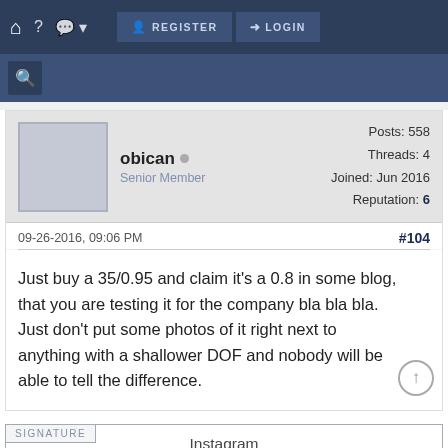REGISTER  LOGIN
obican  Senior Member  Posts: 558  Threads: 4  Joined: Jun 2016  Reputation: 6
09-26-2016, 09:06 PM  #104
Just buy a 35/0.95 and claim it's a 0.8 in some blog, that you are testing it for the company bla bla bla. Just don't put some photos of it right next to anything with a shallower DOF and nobody will be able to tell the difference.
SIGNATURE
Instagram